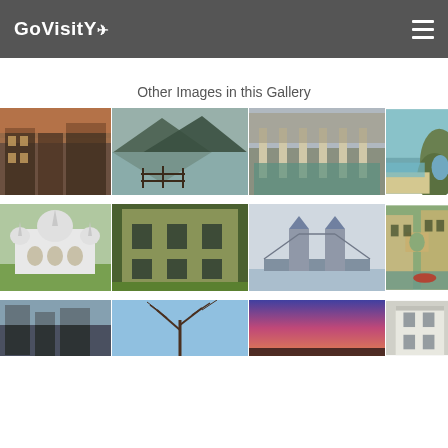GoVisity
Other Images in this Gallery
[Figure (photo): Grid of travel photography images showing English landmarks: Tudor buildings, lake with mountains, Roman Baths, coastal arch, Brighton Pavilion, ivy-covered building, Tower Bridge, Bridge of Sighs Oxford, and partial third row of additional scenes.]